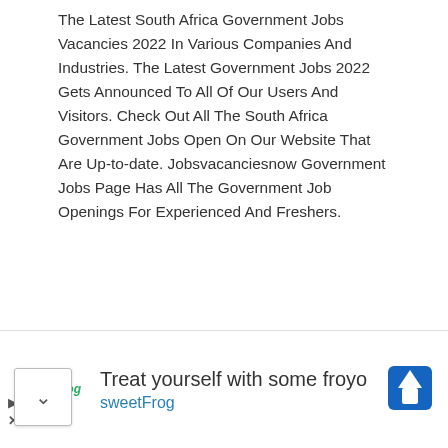The Latest South Africa Government Jobs Vacancies 2022 In Various Companies And Industries. The Latest Government Jobs 2022 Gets Announced To All Of Our Users And Visitors. Check Out All The South Africa Government Jobs Open On Our Website That Are Up-to-date. Jobsvacanciesnow Government Jobs Page Has All The Government Job Openings For Experienced And Freshers.
We Hope You Liked This Article And That They
[Figure (other): Advertisement banner for sweetFrog frozen yogurt with logo, tagline 'Treat yourself with some froyo', brand name 'sweetFrog', and navigation arrow icon]